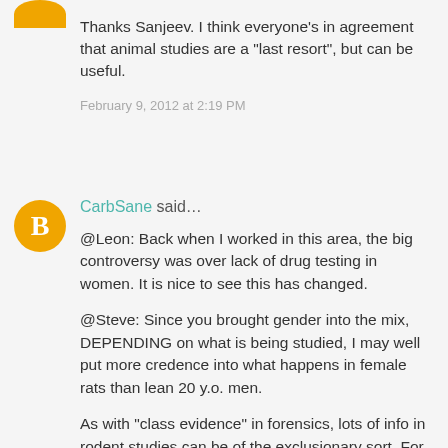Thanks Sanjeev. I think everyone's in agreement that animal studies are a "last resort", but can be useful.
February 9, 2012 at 2:19 PM
CarbSane said…
@Leon: Back when I worked in this area, the big controversy was over lack of drug testing in women. It is nice to see this has changed.
@Steve: Since you brought gender into the mix, DEPENDING on what is being studied, I may well put more credence into what happens in female rats than lean 20 y.o. men.
As with "class evidence" in forensics, lots of info in rodent studies can be of the exclusionary sort. For example, blood type is class evidence, blood evidence that could come from any number of sources sharing, say, type A. If the blood found at a scene is type AB, and a suspect is type A, we can exclude the